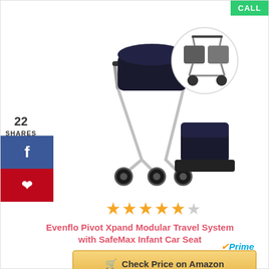[Figure (photo): Evenflo Pivot Xpand Modular Travel System with SafeMax Infant Car Seat product photo showing stroller and car seat in dark/black color with a circular inset showing double stroller configuration]
22
SHARES
[Figure (other): Facebook share button (blue)]
[Figure (other): Pinterest share button (red)]
[Figure (other): 4.5 star rating shown as gold stars]
Evenflo Pivot Xpand Modular Travel System with SafeMax Infant Car Seat
[Figure (logo): Amazon Prime logo with checkmark]
Check Price on Amazon